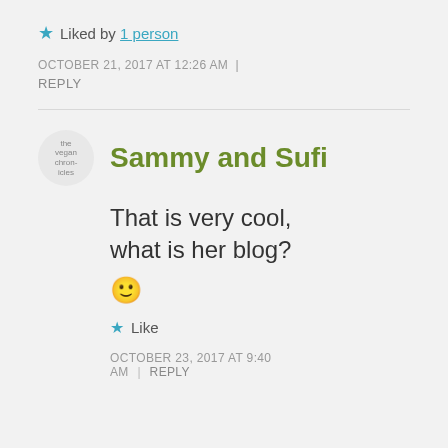Liked by 1 person
OCTOBER 21, 2017 AT 12:26 AM
REPLY
Sammy and Sufi
That is very cool, what is her blog? 🙂
Like
OCTOBER 23, 2017 AT 9:40 AM  |  REPLY